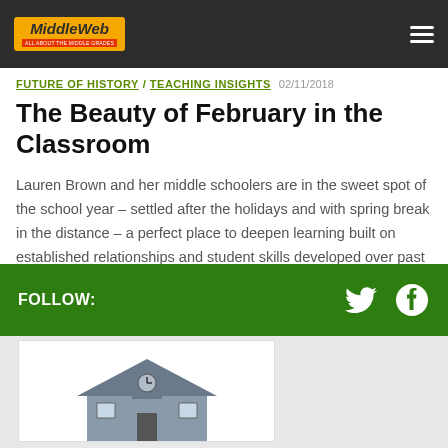[Figure (logo): MiddleWeb logo on dark navigation bar with hamburger menu]
FUTURE OF HISTORY / TEACHING INSIGHTS 02/11/2018
The Beauty of February in the Classroom
Lauren Brown and her middle schoolers are in the sweet spot of the school year – settled after the holidays and with spring break in the distance – a perfect place to deepen learning built on established relationships and student skills developed over past months. Snow days help, too.
[Figure (illustration): School building illustration with clock tower at bottom of page]